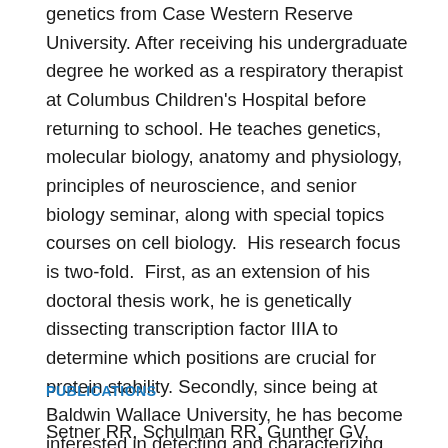genetics from Case Western Reserve University. After receiving his undergraduate degree he worked as a respiratory therapist at Columbus Children's Hospital before returning to school. He teaches genetics, molecular biology, anatomy and physiology, principles of neuroscience, and senior biology seminar, along with special topics courses on cell biology.  His research focus is two-fold.  First, as an extension of his doctoral thesis work, he is genetically dissecting transcription factor IIIA to determine which positions are crucial for protein stability. Secondly, since being at Baldwin Wallace University, he has become interested in detecting and characterizing programmed cell death in single-celled organisms. His main research interest is in the evolution of apoptotic processes in protists.
PUBLICATIONS
Setner RR, Schulman RR, Gunther GY, Rumbolia MJ...